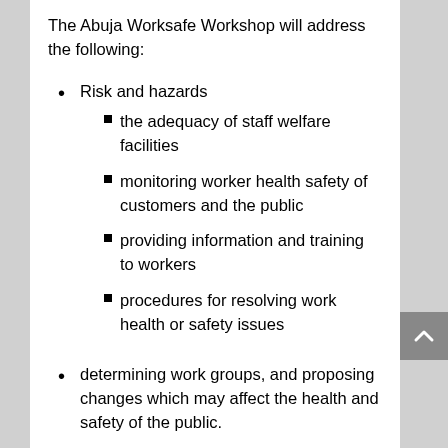The Abuja Worksafe Workshop will address the following:
Risk and hazards
the adequacy of staff welfare facilities
monitoring worker health safety of customers and the public
providing information and training to workers
procedures for resolving work health or safety issues
determining work groups, and proposing changes which may affect the health and safety of the public.